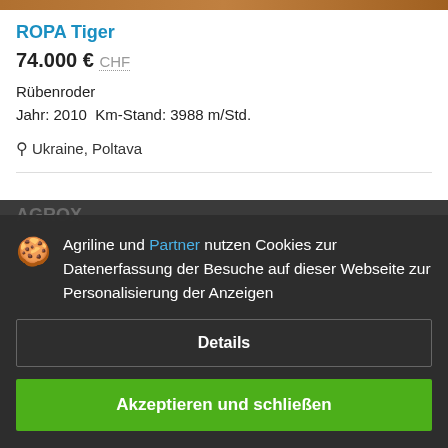[Figure (photo): Partial product image strip at top of page showing agricultural machine]
ROPA Tiger
74.000 € CHF
Rübenroder
Jahr: 2010  Km-Stand: 3988 m/Std.
Ukraine, Poltava
Agriline und Partner nutzen Cookies zur Datenerfassung der Besuche auf dieser Webseite zur Personalisierung der Anzeigen
Details
Akzeptieren und schließen